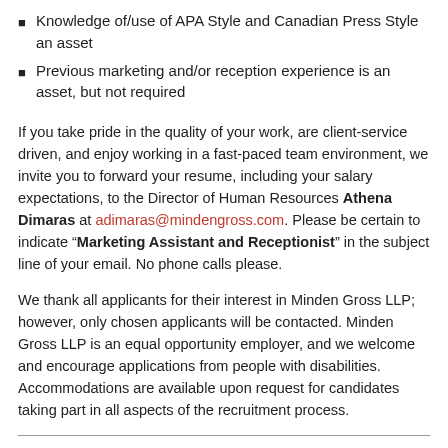Knowledge of/use of APA Style and Canadian Press Style an asset
Previous marketing and/or reception experience is an asset, but not required
If you take pride in the quality of your work, are client-service driven, and enjoy working in a fast-paced team environment, we invite you to forward your resume, including your salary expectations, to the Director of Human Resources Athena Dimaras at adimaras@mindengross.com. Please be certain to indicate “Marketing Assistant and Receptionist” in the subject line of your email. No phone calls please.
We thank all applicants for their interest in Minden Gross LLP; however, only chosen applicants will be contacted. Minden Gross LLP is an equal opportunity employer, and we welcome and encourage applications from people with disabilities. Accommodations are available upon request for candidates taking part in all aspects of the recruitment process.
Commercial Real Estate Legal Assistant
We have an immediate opening for a Commercial Real Estate Legal